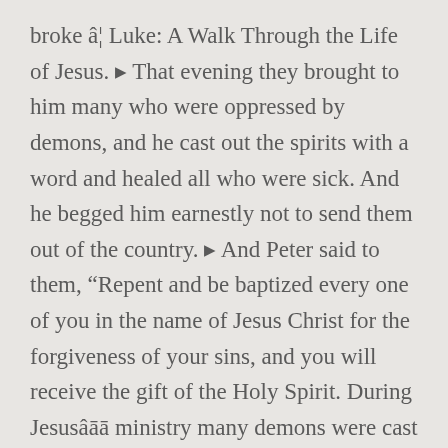broke â¦ Luke: A Walk Through the Life of Jesus. ▸ That evening they brought to him many who were oppressed by demons, and he cast out the spirits with a word and healed all who were sick. And he begged him earnestly not to send them out of the country. ▸ And Peter said to them, “Repent and be baptized every one of you in the name of Jesus Christ for the forgiveness of your sins, and you will receive the gift of the Holy Spirit. During Jesusâ ministry many demons were cast out. For though I am absent in body, yet I am with you in spirit, rejoicing to see your good order and the firmness of your faith in Christ. And the dragon stood before the woman who